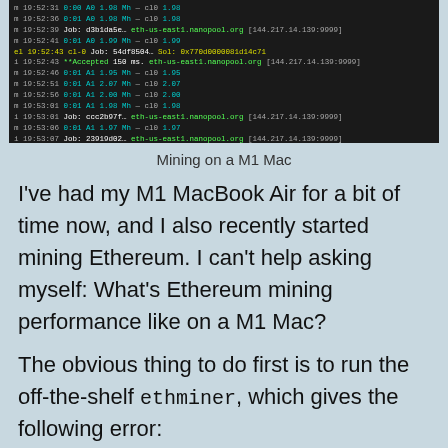[Figure (screenshot): Terminal output showing Ethereum mining logs with timestamps around 19:52-19:53, displaying hashrate values (A0 1.98 Mh, A1 1.95-2.07 Mh), job hashes, and connections to eth-us-east1.nanopool.org [144.217.14.139:9999], with an Accepted result line.]
Mining on a M1 Mac
I've had my M1 MacBook Air for a bit of time now, and I also recently started mining Ethereum. I can't help asking myself: What's Ethereum mining performance like on a M1 Mac?
The obvious thing to do first is to run the off-the-shelf ethminer, which gives the following error: